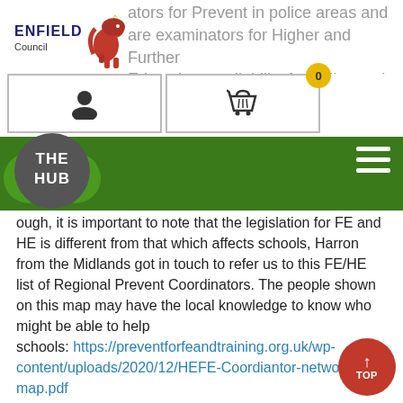[Figure (logo): Enfield Council logo with red lion emblem and text 'ENFIELD Council']
ators for Prevent in police areas and are examinators for Higher and Further Education, availability for police and
[Figure (screenshot): Two icon buttons: person/account icon button and shopping basket/cart icon button with badge showing '0']
[Figure (logo): THE HUB green circular logo overlapping green navigation bar with hamburger menu on right]
ough, it is important to note that the legislation for FE and HE is different from that which affects schools, Harron from the Midlands got in touch to refer us to this FE/HE list of Regional Prevent Coordinators. The people shown on this map may have the local knowledge to know who might be able to help schools: https://preventforfeandtraining.org.uk/wp-content/uploads/2020/12/HEFE-Coordiantor-network-map.pdf